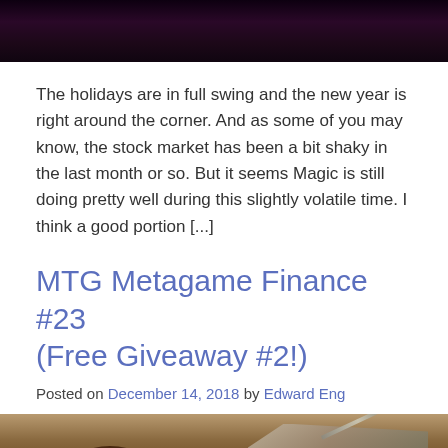[Figure (photo): Dark fantasy/gaming artwork with purple tones at top of page]
The holidays are in full swing and the new year is right around the corner. And as some of you may know, the stock market has been a bit shaky in the last month or so. But it seems Magic is still doing pretty well during this slightly volatile time. I think a good portion [...]
MTG Metagame Finance #23 (Free Giveaway #2!)
Posted on December 14, 2018 by Edward Eng
[Figure (photo): Fantasy gaming artwork showing a creature/character outdoors with warm earth tones]